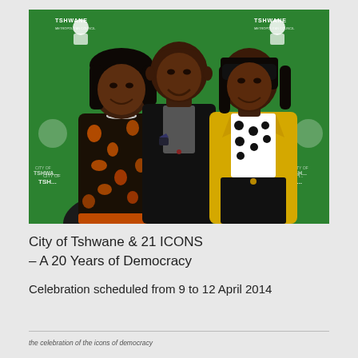[Figure (photo): Three people posing in front of a green City of Tshwane branded backdrop. Left: a woman in a black and orange floral outfit. Center: a man in a black suit with grey shirt. Right: a woman in a yellow blazer with black and white polka dot top.]
City of Tshwane & 21 ICONS – A 20 Years of Democracy Celebration scheduled from 9 to 12 April 2014